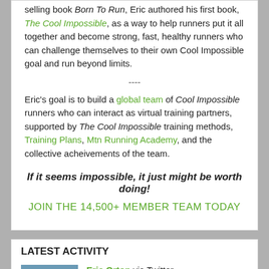selling book Born To Run, Eric authored his first book, The Cool Impossible, as a way to help runners put it all together and become strong, fast, healthy runners who can challenge themselves to their own Cool Impossible goal and run beyond limits.
----
Eric's goal is to build a global team of Cool Impossible runners who can interact as virtual training partners, supported by The Cool Impossible training methods, Training Plans, Mtn Running Academy, and the collective acheivements of the team.
If it seems impossible, it just might be worth doing!
JOIN THE 14,500+ MEMBER TEAM TODAY
LATEST ACTIVITY
Eric Orton via Twitter
RT @ChrisMcDougall: The Freepstakes is off and running https://t.co/um8TSdtHJC
Sunday